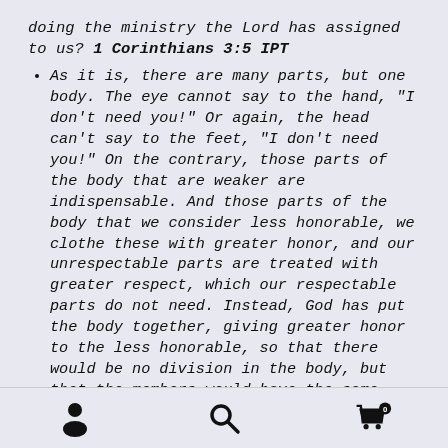doing the ministry the Lord has assigned to us? 1 Corinthians 3:5 IPT
As it is, there are many parts, but one body. The eye cannot say to the hand, "I don't need you!" Or again, the head can't say to the feet, "I don't need you!" On the contrary, those parts of the body that are weaker are indispensable. And those parts of the body that we consider less honorable, we clothe these with greater honor, and our unrespectable parts are treated with greater respect, which our respectable parts do not need. Instead, God has put the body together, giving greater honor to the less honorable, so that there would be no division in the body, but that the members would have the same concern